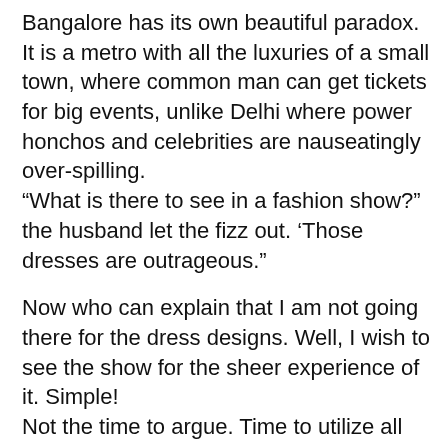Bangalore has its own beautiful paradox. It is a metro with all the luxuries of a small town, where common man can get tickets for big events, unlike Delhi where power honchos and celebrities are nauseatingly over-spilling.
“What is there to see in a fashion show?” the husband let the fizz out. ‘Those dresses are outrageous.”
Now who can explain that I am not going there for the dress designs. Well, I wish to see the show for the sheer experience of it. Simple!
Not the time to argue. Time to utilize all the persuasive skills at my disposal. “It will be a nice evening out We haven’t seen ‘The Oterra’ and models. The place will be swarming with pretty models.”
Punch!